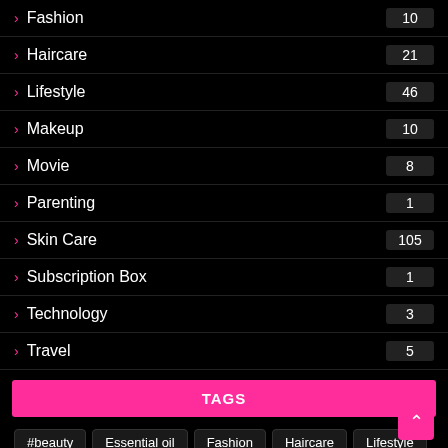Fashion 10
Haircare 21
Lifestyle 46
Makeup 10
Movie 8
Parenting 1
Skin Care 105
Subscription Box 1
Technology 3
Travel 5
TAGS
#beauty
Essential oil
Fashion
Haircare
Lifestyle
makeup
Movie
Parenting
Skin care
Subscription Box